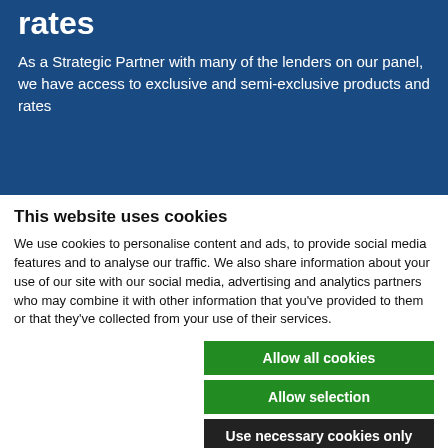rates
As a Strategic Partner with many of the lenders on our panel, we have access to exclusive and semi-exclusive products and rates
This website uses cookies
We use cookies to personalise content and ads, to provide social media features and to analyse our traffic. We also share information about your use of our site with our social media, advertising and analytics partners who may combine it with other information that you've provided to them or that they've collected from your use of their services.
Allow all cookies
Allow selection
Use necessary cookies only
Necessary  Preferences  Statistics  Marketing  Show details